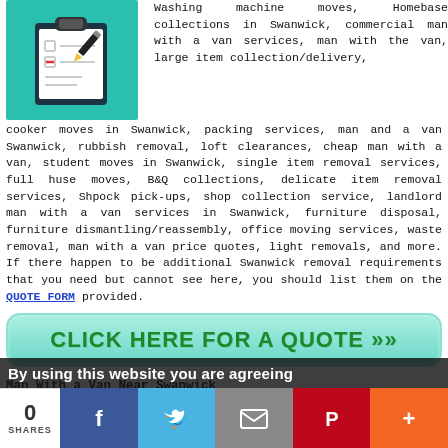[Figure (illustration): Clipboard with checklist and pen illustration on teal background]
Washing machine moves, Homebase collections in Swanwick, commercial man with a van services, man with the van, large item collection/delivery, cooker moves in Swanwick, packing services, man and a van Swanwick, rubbish removal, loft clearances, cheap man with a van, student moves in Swanwick, single item removal services, full huse moves, B&Q collections, delicate item removal services, Shpock pick-ups, shop collection service, landlord man with a van services in Swanwick, furniture disposal, furniture dismantling/reassembly, office moving services, waste removal, man with a van price quotes, light removals, and more. If there happen to be additional Swanwick removal requirements that you need but cannot see here, you should list them on the QUOTE FORM provided.
[Figure (other): Click here for a quote button banner]
Man With a Van Near Swanwick
Also find: South Normanton man with a van, Brinsley man
By using this website you are agreeing
0 SHARES